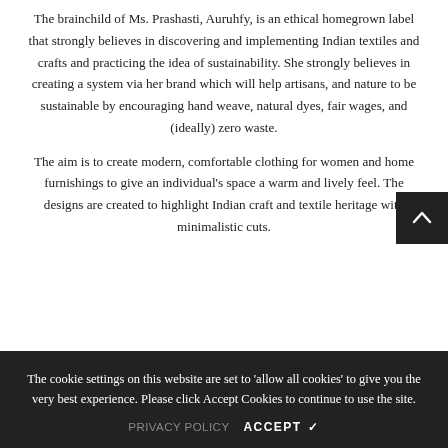The brainchild of Ms. Prashasti, Auruhfy, is an ethical homegrown label that strongly believes in discovering and implementing Indian textiles and crafts and practicing the idea of sustainability. She strongly believes in creating a system via her brand which will help artisans, and nature to be sustainable by encouraging hand weave, natural dyes, fair wages, and (ideally) zero waste.
The aim is to create modern, comfortable clothing for women and home furnishings to give an individual's space a warm and lively feel. The designs are created to highlight Indian craft and textile heritage with minimalistic cuts.
The cookie settings on this website are set to 'allow all cookies' to give you the very best experience. Please click Accept Cookies to continue to use the site.
PRIVACY POLICY   ACCEPT ✓